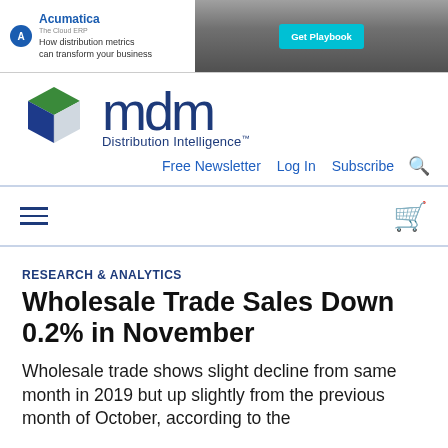[Figure (illustration): Acumatica advertisement banner with logo, tagline 'How distribution metrics can transform your business', and 'Get Playbook' button]
[Figure (logo): MDM Distribution Intelligence logo with geometric cube icon and mdm wordmark]
Free Newsletter   Log In   Subscribe   🔍
Hamburger menu and cart icon navigation bar
RESEARCH & ANALYTICS
Wholesale Trade Sales Down 0.2% in November
Wholesale trade shows slight decline from same month in 2019 but up slightly from the previous month of October, according to the